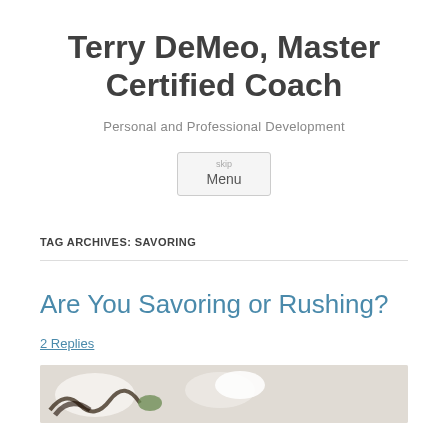Terry DeMeo, Master Certified Coach
Personal and Professional Development
Menu
TAG ARCHIVES: SAVORING
Are You Savoring or Rushing?
2 Replies
[Figure (photo): Food photo showing what appears to be a dessert with cream and dark chocolate elements and a green mint leaf garnish]